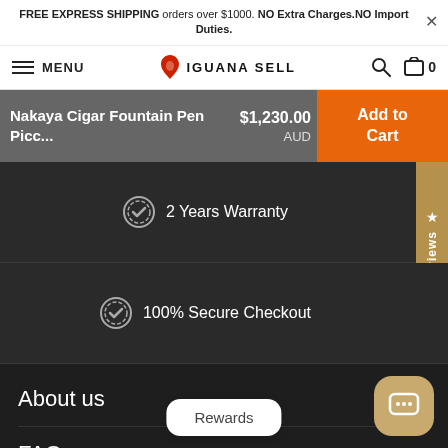FREE EXPRESS SHIPPING orders over $1000. NO Extra Charges.NO Import Duties.
[Figure (screenshot): Iguana Sell logo with iguana icon and text IGUANA SELL]
Nakaya Cigar Fountain Pen Picc... $1,230.00 AUD
Add to Cart
2 Years Warranty
100% Secure Checkout
★ Our Reviews
About us
FAQ
Rewards